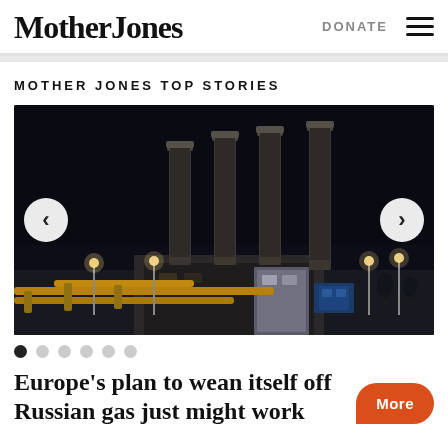Mother Jones
DONATE
MOTHER JONES TOP STORIES
[Figure (photo): Night photograph of an industrial facility with four tall chimneys/smokestacks lit against a dark sky, with pipeline infrastructure and lights in the foreground.]
Europe's plan to wean itself off Russian gas just might work
More